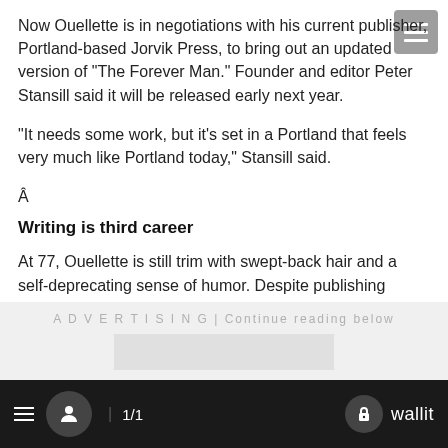Now Ouellette is in negotiations with his current publisher, Portland-based Jorvik Press, to bring out an updated version of "The Forever Man." Founder and editor Peter Stansill said it will be released early next year.
"It needs some work, but it's set in a Portland that feels very much like Portland today," Stansill said.
Â
Writing is third career
At 77, Ouellette is still trim with swept-back hair and a self-deprecating sense of humor. Despite publishing seven books, the Lake Oswego resident admits he never intended to be a serious writer.
ADVERTISING | Continue reading below
≡  1/1  wallit